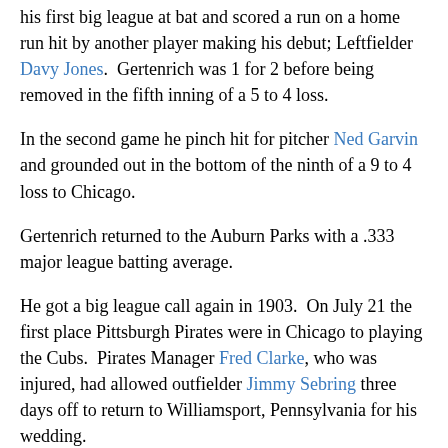his first big league at bat and scored a run on a home run hit by another player making his debut; Leftfielder Davy Jones.  Gertenrich was 1 for 2 before being removed in the fifth inning of a 5 to 4 loss.
In the second game he pinch hit for pitcher Ned Garvin and grounded out in the bottom of the ninth of a 9 to 4 loss to Chicago.
Gertenrich returned to the Auburn Parks with a .333 major league batting average.
He got a big league call again in 1903.  On July 21 the first place Pittsburgh Pirates were in Chicago to playing the Cubs.  Pirates Manager Fred Clarke, who was injured, had allowed outfielder Jimmy Sebring three days off to return to Williamsport, Pennsylvania for his wedding.